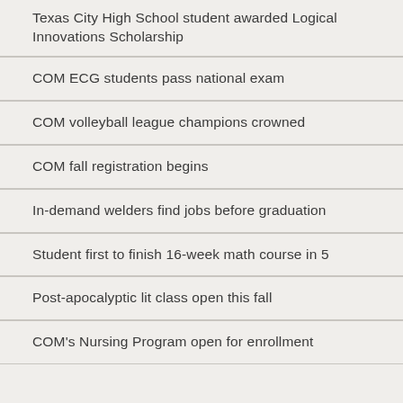Texas City High School student awarded Logical Innovations Scholarship
COM ECG students pass national exam
COM volleyball league champions crowned
COM fall registration begins
In-demand welders find jobs before graduation
Student first to finish 16-week math course in 5
Post-apocalyptic lit class open this fall
COM's Nursing Program open for enrollment